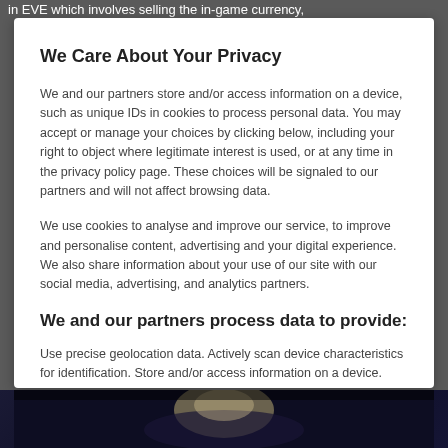in EVE which involves selling the in-game currency,
We Care About Your Privacy
We and our partners store and/or access information on a device, such as unique IDs in cookies to process personal data. You may accept or manage your choices by clicking below, including your right to object where legitimate interest is used, or at any time in the privacy policy page. These choices will be signaled to our partners and will not affect browsing data.
We use cookies to analyse and improve our service, to improve and personalise content, advertising and your digital experience. We also share information about your use of our site with our social media, advertising, and analytics partners.
We and our partners process data to provide:
Use precise geolocation data. Actively scan device characteristics for identification. Store and/or access information on a device. Personalised ads and content, ad and content measurement, audience insights and product development.
List of Partners (vendors)
[Figure (photo): Dark background image showing a figure with blonde hair, appears to be a game or movie character screenshot]